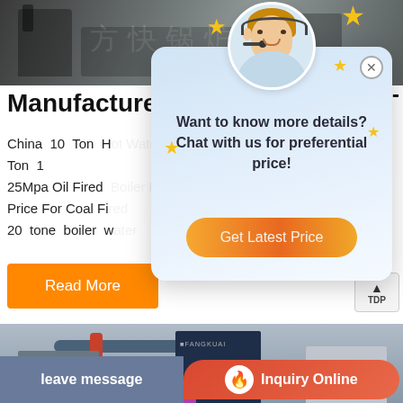[Figure (photo): Industrial boiler/equipment photo at top of page with Chinese text watermark]
Manufacturers Hot Water Boiler 20 Ton
China 10 Ton Hot Water Boiler ... Ton 1 25Mpa Oil Fired ... boiler – Price For Coal Fi... rmany. 20 tone boiler w... ga...
Read More
[Figure (screenshot): Chat popup overlay with agent photo and 'Want to know more details? Chat with us for preferential price!' message and 'Get Latest Price' button]
[Figure (photo): Industrial boiler manufacturing facility with FANGKUAI brand equipment]
Save Stickers on WhatsApp
leave message
Inquiry Online